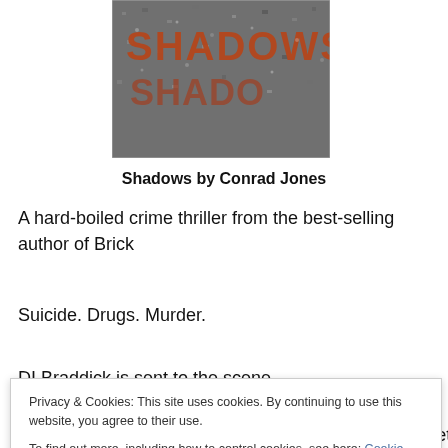[Figure (photo): Book cover for 'Shadows' showing the word SHADOWS in large orange/red distressed letters over a dark gravel/stone background, with a partially visible reflection or second instance of the word below.]
Shadows by Conrad Jones
A hard-boiled crime thriller from the best-selling author of Brick
Suicide. Drugs. Murder.
DI Braddick is sent to the scene...
Privacy & Cookies: This site uses cookies. By continuing to use this website, you agree to their use.
To find out more, including how to control cookies, see here: Cookie Policy
Close and accept
found at the scene helps Braddick put the pieces together